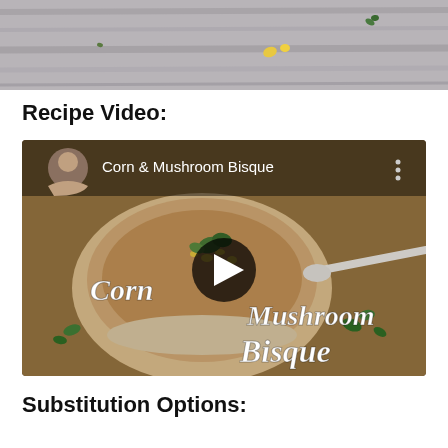[Figure (photo): Top portion of a wooden table with scattered corn kernels and herbs, cropped at the bottom of the frame.]
Recipe Video:
[Figure (screenshot): Embedded YouTube video thumbnail showing a white bowl of Corn & Mushroom Bisque soup, garnished with herbs and corn. The video title reads 'Corn & Mushroom Bisque' with a play button overlay. Text overlay on the image reads 'Corn Mushroom Bisque' in a stylized font.]
Substitution Options: